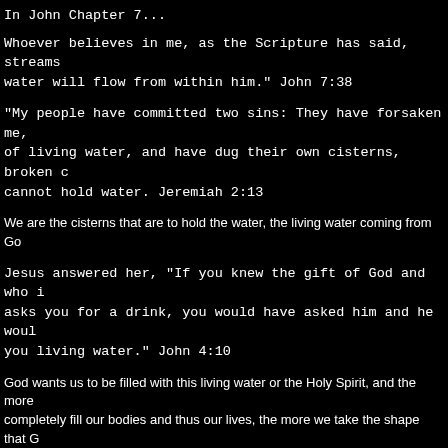In John Chapter 7...
Whoever believes in me, as the Scripture has said, streams of water will flow from within him." John 7:38
"My people have committed two sins: They have forsaken me, the spring of living water, and have dug their own cisterns, broken cisterns that cannot hold water. Jeremiah 2:13
We are the cisterns that are to hold the water, the living water coming from God.
Jesus answered her, "If you knew the gift of God and who it is that asks you for a drink, you would have asked him and he would have given you living water." John 4:10
God wants us to be filled with this living water or the Holy Spirit, and the more completely fill our bodies and thus our lives, the more we take the shape that God has for us. Remember, a liquid takes the shape of its container.
But just as a container can spring a leak, so can we if we start to drift away from His will for our lives. As Christians, the Spirit does not depart from us but it can be weakened when we refuse to take the shape God wants us to.